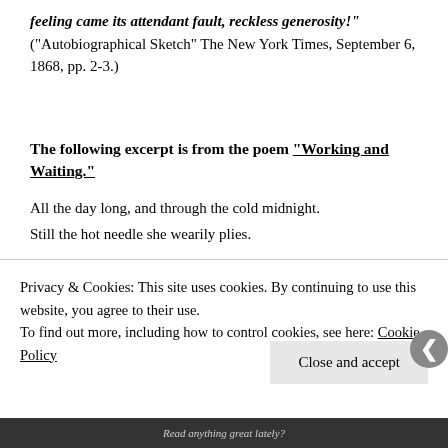feeling came its attendant fault, reckless generosity!" ("Autobiographical Sketch" The New York Times, September 6, 1868, pp. 2-3.)
The following excerpt is from the poem “Working and Waiting.”
All the day long, and through the cold midnight.
Still the hot needle she wearily plies.
Privacy & Cookies: This site uses cookies. By continuing to use this website, you agree to their use.
To find out more, including how to control cookies, see here: Cookie Policy
Close and accept
Read anything great lately?